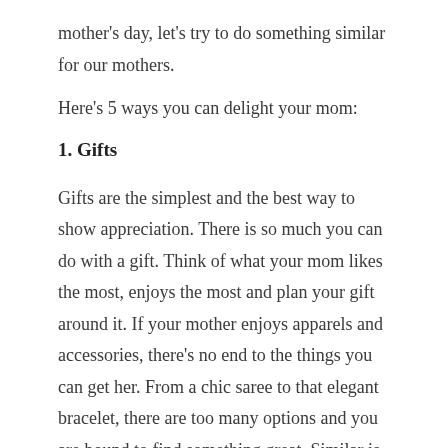mother's day, let's try to do something similar for our mothers.
Here's 5 ways you can delight your mom:
1. Gifts
Gifts are the simplest and the best way to show appreciation. There is so much you can do with a gift. Think of what your mom likes the most, enjoys the most and plan your gift around it. If your mother enjoys apparels and accessories, there's no end to the things you can get her. From a chic saree to that elegant bracelet, there are too many options and you are bound to find something great. Similar is the case with beauty and skin care products, there is something that suits the style and